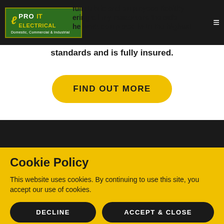[Figure (logo): Pro IT Electrical logo — green background with yellow arc symbol and white/yellow text reading PRO IT ELECTRICAL, Domestic, Commercial & Industrial]
My Company has full Public and employees liability assurance that the work completed is to the highest standards and is fully insured.
FIND OUT MORE
Cookie Policy
This website uses cookies. By continuing to use this site, you accept our use of cookies.
DECLINE
ACCEPT & CLOSE